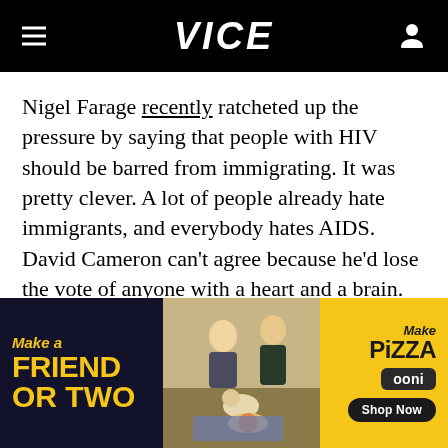VICE
Nigel Farage recently ratcheted up the pressure by saying that people with HIV should be barred from immigrating. It was pretty clever. A lot of people already hate immigrants, and everybody hates AIDS. David Cameron can't agree because he'd lose the vote of anyone with a heart and a brain. So, packing a double punch, Farage has also neatly planted the idea that Cameron
[Figure (infographic): Advertisement banner. Left panel dark background with yellow text: 'Make a FRIEND OR TWO'. Middle panel shows photo of people and dogs at a picnic with a pizza. Right panel yellow background with text: 'Make Pizza', 'ooni', 'Shop Now'.]